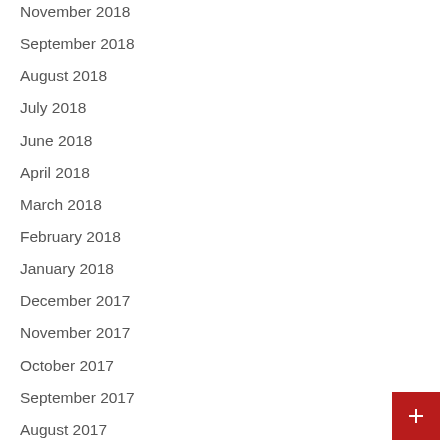November 2018
September 2018
August 2018
July 2018
June 2018
April 2018
March 2018
February 2018
January 2018
December 2017
November 2017
October 2017
September 2017
August 2017